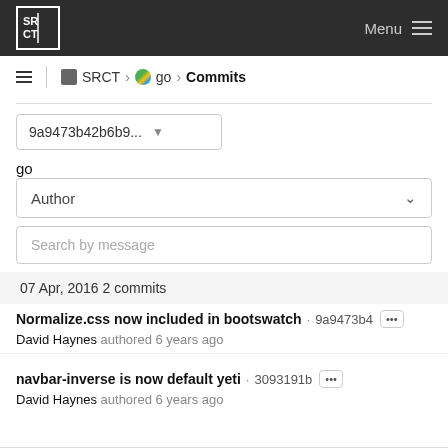SRCT  Menu
SRCT > go > Commits
9a9473b42b6b9...
go
Author
Search by message
07 Apr, 2016 2 commits
Normalize.css now included in bootswatch · 9a9473b4 ···
David Haynes authored 6 years ago
navbar-inverse is now default yeti · 3093191b ···
David Haynes authored 6 years ago